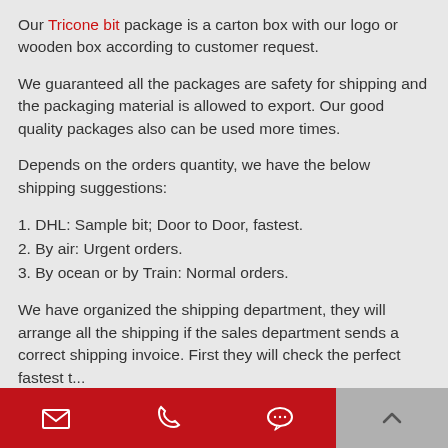Our Tricone bit package is a carton box with our logo or wooden box according to customer request.
We guaranteed all the packages are safety for shipping and the packaging material is allowed to export. Our good quality packages also can be used more times.
Depends on the orders quantity, we have the below shipping suggestions:
1. DHL: Sample bit; Door to Door, fastest.
2. By air: Urgent orders.
3. By ocean or by Train: Normal orders.
We have organized the shipping department, they will arrange all the shipping if the sales department sends a correct shipping invoice. First they will check the perfect fastest...